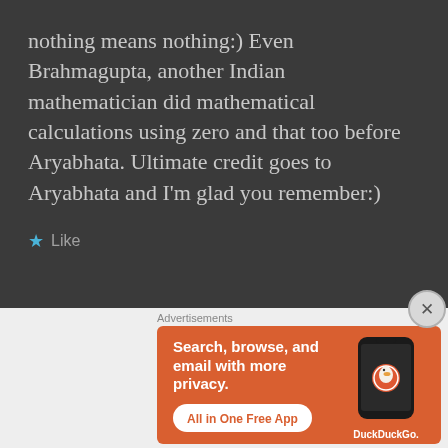nothing means nothing:) Even Brahmagupta, another Indian mathematician did mathematical calculations using zero and that too before Aryabhata. Ultimate credit goes to Aryabhata and I'm glad you remember:)
★ Like
Advertisements
[Figure (other): DuckDuckGo advertisement banner with orange background. Left side shows bold white text: 'Search, browse, and email with more privacy.' with a white pill button reading 'All in One Free App'. Right side shows a stylized smartphone with the DuckDuckGo logo and text 'DuckDuckGo.' below.]